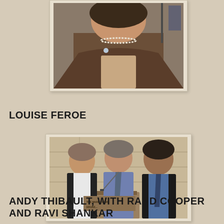[Figure (photo): Photo of Louise Feroe, a woman in a brown blazer with a pearl necklace and floral blouse, appears to be at a podium or speaking event.]
LOUISE FEROE
[Figure (photo): Photo of Andy Thibault with Rand Cooper and Ravi Shankar, three men standing at or near a podium in what appears to be a formal venue with stone walls.]
ANDY THIBAULT, WITH RAND COOPER AND RAVI SHANKAR